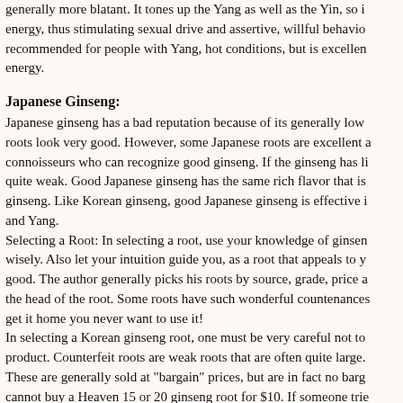generally more blatant. It tones up the Yang as well as the Yin, so it energy, thus stimulating sexual drive and assertive, willful behavior recommended for people with Yang, hot conditions, but is excellent energy.
Japanese Ginseng:
Japanese ginseng has a bad reputation because of its generally low roots look very good. However, some Japanese roots are excellent connoisseurs who can recognize good ginseng. If the ginseng has quite weak. Good Japanese ginseng has the same rich flavor that is ginseng. Like Korean ginseng, good Japanese ginseng is effective and Yang. Selecting a Root: In selecting a root, use your knowledge of ginseng wisely. Also let your intuition guide you, as a root that appeals to you good. The author generally picks his roots by source, grade, price the head of the root. Some roots have such wonderful countenances get it home you never want to use it! In selecting a Korean ginseng root, one must be very careful not to product. Counterfeit roots are weak roots that are often quite large. These are generally sold at "bargain" prices, but are in fact no bargain cannot buy a Heaven 15 or 20 ginseng root for $10. If someone tries one at such a price, look elsewhere. It is imperative that you know dealer and that the dealer knows his business. The sources listed in are reputable experts and are thus good sources of ginseng. Many other sources also exist, but one must always be careful.